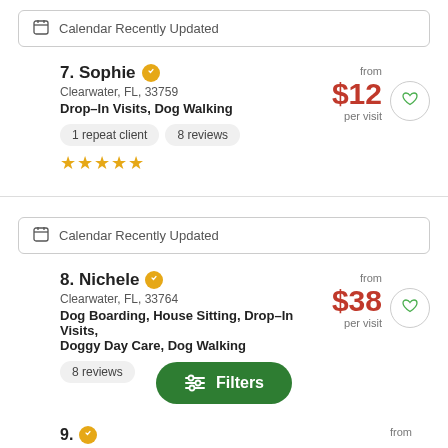Calendar Recently Updated
7. Sophie — Clearwater, FL, 33759 — Drop-In Visits, Dog Walking — 1 repeat client — 8 reviews — from $12 per visit
Calendar Recently Updated
8. Nichele — Clearwater, FL, 33764 — Dog Boarding, House Sitting, Drop-In Visits, Doggy Day Care, Dog Walking — 8 reviews — from $38 per visit
Filters